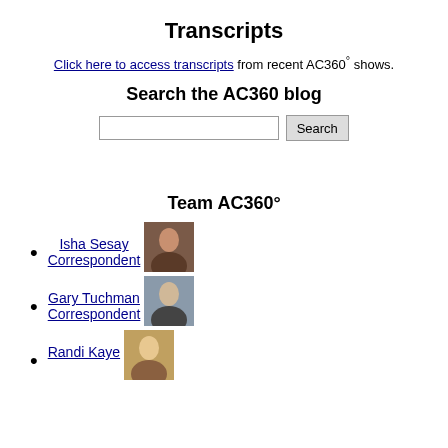Transcripts
Click here to access transcripts from recent AC360° shows.
Search the AC360 blog
[Figure (screenshot): Search input box with a Search button]
Team AC360°
Isha Sesay Correspondent
Gary Tuchman Correspondent
Randi Kaye